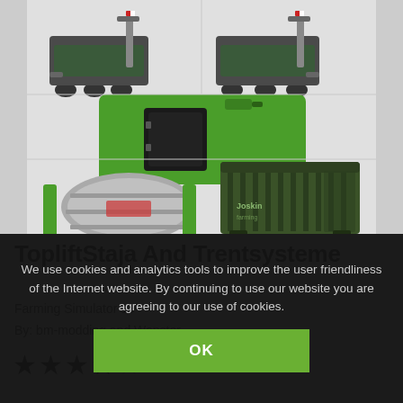[Figure (photo): Screenshot from Farming Simulator 19 showing multiple agricultural equipment mods: two trailer/hooklift vehicles in top row, a green fuel/equipment tank in middle, and a silver slurry tanker with green frame plus a dark green storage container in bottom row, on a gray background.]
TopliftStaja And Trentsysteme
Farming Simulator 19
By: bm-modding and Wopster
[Figure (other): 4.5 out of 5 stars rating shown as 4 filled black stars and 1 half/faded star]
We use cookies and analytics tools to improve the user friendliness of the Internet website. By continuing to use our website you are agreeing to our use of cookies.